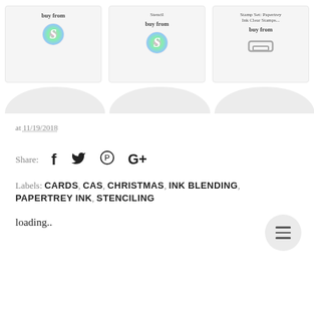[Figure (screenshot): Three product cards each showing 'buy from' text with Splitcoaststampers logo (colorful S circle) in first two cards, and a different logo in the third card. Below each card is a rounded tab shape.]
at 11/19/2018
Share:  f  (twitter bird)  (pinterest P)  G+
Labels: CARDS, CAS, CHRISTMAS, INK BLENDING, PAPERTREY INK, STENCILING
[Figure (other): Floating action button with hamburger menu icon]
loading..